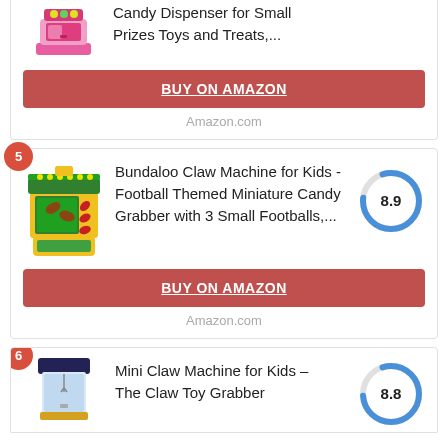[Figure (screenshot): Partial product card at top showing candy dispenser product image (pink machine) and partial title text 'Candy Dispenser for Small Prizes Toys and Treats,...' with Buy on Amazon button and Amazon.com source label]
[Figure (screenshot): Product card #5: Bundaloo Claw Machine for Kids - Football Themed Miniature Candy Grabber with 3 Small Footballs,... with score 8.9, Buy on Amazon button, and Amazon.com label]
[Figure (screenshot): Partial product card #6: Mini Claw Machine for Kids – The Claw Toy Grabber with score 8.8, partial view at bottom]